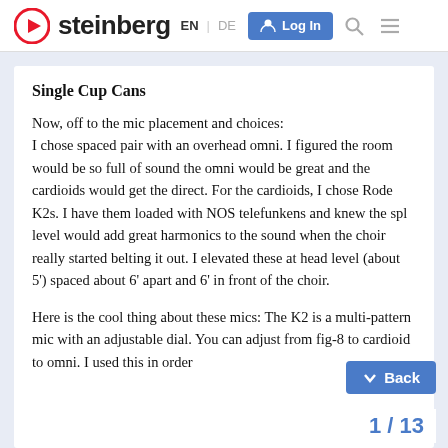steinberg EN | DE  Log In
Single Cup Cans
Now, off to the mic placement and choices:
I chose spaced pair with an overhead omni. I figured the room would be so full of sound the omni would be great and the cardioids would get the direct. For the cardioids, I chose Rode K2s. I have them loaded with NOS telefunkens and knew the spl level would add great harmonics to the sound when the choir really started belting it out. I elevated these at head level (about 5') spaced about 6' apart and 6' in front of the choir.
Here is the cool thing about these mics: The K2 is a multi-pattern mic with an adjustable dial. You can adjust from fig-8 to cardioid to omni. I used this in order